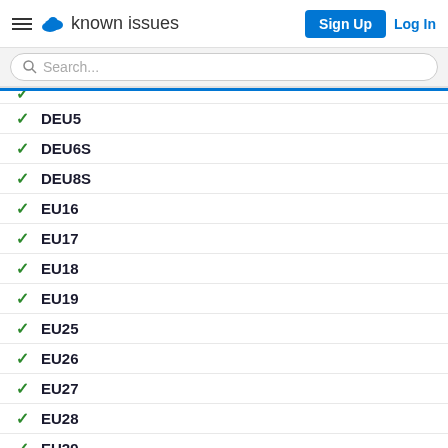known issues | Sign Up | Log In
✓ DEU5
✓ DEU6S
✓ DEU8S
✓ EU16
✓ EU17
✓ EU18
✓ EU19
✓ EU25
✓ EU26
✓ EU27
✓ EU28
✓ EU29
✓ EU30
✓ EU31
✓ EU32